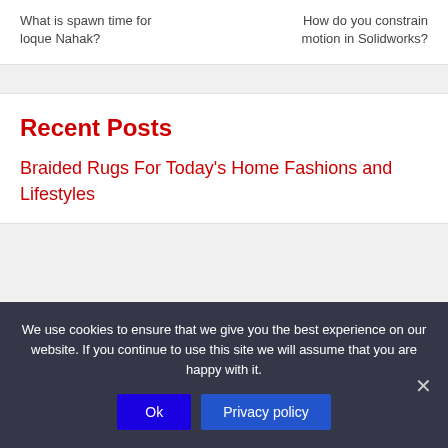What is spawn time for loque Nahak?
How do you constrain motion in Solidworks?
Recent Posts
Braided Rugs For Today's Home Fashions and Lifestyles
We use cookies to ensure that we give you the best experience on our website. If you continue to use this site we will assume that you are happy with it.
Ok
Privacy policy